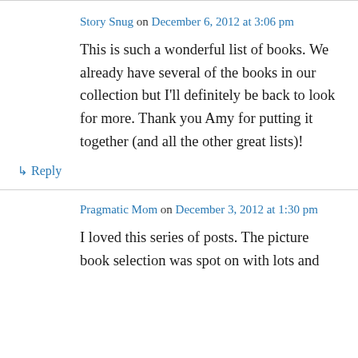Story Snug on December 6, 2012 at 3:06 pm
This is such a wonderful list of books. We already have several of the books in our collection but I'll definitely be back to look for more. Thank you Amy for putting it together (and all the other great lists)!
↳ Reply
Pragmatic Mom on December 3, 2012 at 1:30 pm
I loved this series of posts. The picture book selection was spot on with lots and